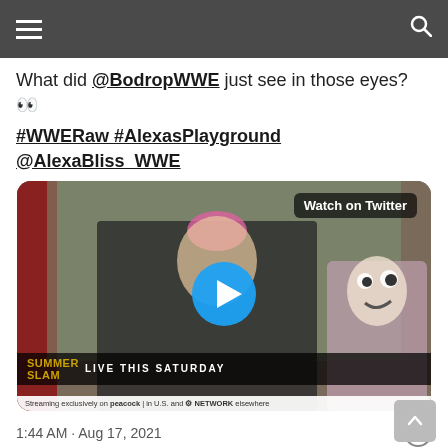What did @BodropWWE just see in those eyes? 👀
#WWERaw #AlexasPlayground @AlexaBliss_WWE
[Figure (screenshot): Video thumbnail showing Alexa Bliss with a doll, SummerSlam branding, and a 'Watch on Twitter' overlay with a play button]
1:44 AM · Aug 17, 2021
952   Reply   Copy link